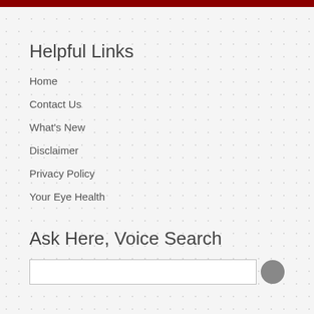Helpful Links
Home
Contact Us
What's New
Disclaimer
Privacy Policy
Your Eye Health
Ask Here, Voice Search
[search input field]